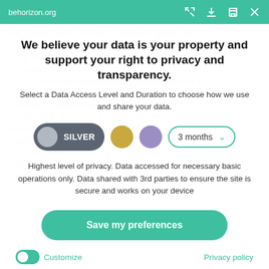behorizon.org
We believe your data is your property and support your right to privacy and transparency.
Select a Data Access Level and Duration to choose how we use and share your data.
[Figure (infographic): Privacy level selector with SILVER pill button selected, gold circle, purple circle, and a 3 months dropdown]
Highest level of privacy. Data accessed for necessary basic operations only. Data shared with 3rd parties to ensure the site is secure and works on your device
Save my preferences
Customize
Privacy policy